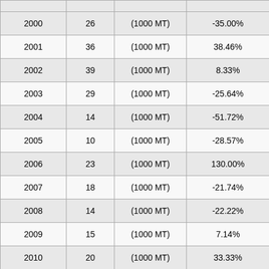| Year | Value | Unit | Change % |
| --- | --- | --- | --- |
| 2000 | 26 | (1000 MT) | -35.00% |
| 2001 | 36 | (1000 MT) | 38.46% |
| 2002 | 39 | (1000 MT) | 8.33% |
| 2003 | 29 | (1000 MT) | -25.64% |
| 2004 | 14 | (1000 MT) | -51.72% |
| 2005 | 10 | (1000 MT) | -28.57% |
| 2006 | 23 | (1000 MT) | 130.00% |
| 2007 | 18 | (1000 MT) | -21.74% |
| 2008 | 14 | (1000 MT) | -22.22% |
| 2009 | 15 | (1000 MT) | 7.14% |
| 2010 | 20 | (1000 MT) | 33.33% |
| 2011 |  | (1000 |  |